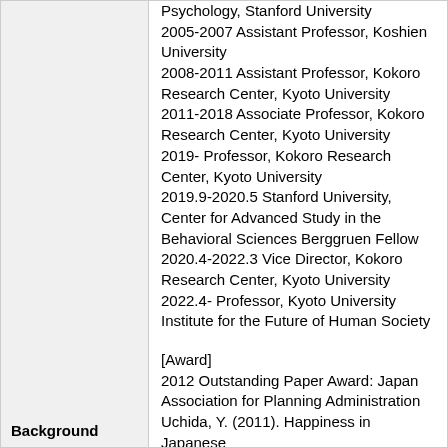Psychology, Stanford University
2005-2007 Assistant Professor, Koshien University
2008-2011 Assistant Professor, Kokoro Research Center, Kyoto University
2011-2018 Associate Professor, Kokoro Research Center, Kyoto University
2019- Professor, Kokoro Research Center, Kyoto University
2019.9-2020.5 Stanford University, Center for Advanced Study in the Behavioral Sciences Berggruen Fellow
2020.4-2022.3 Vice Director, Kokoro Research Center, Kyoto University
2022.4- Professor, Kyoto University Institute for the Future of Human Society
[Award]
2012 Outstanding Paper Award: Japan Association for Planning Administration Uchida, Y. (2011). Happiness in Japanese
Background